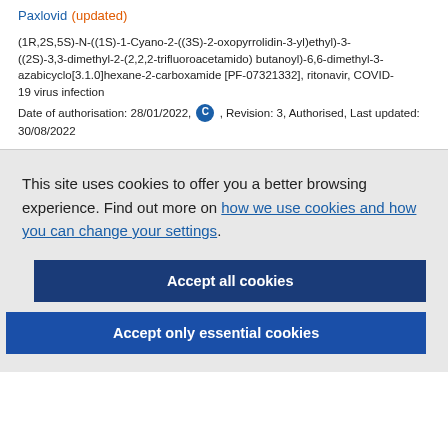Paxlovid (updated)
(1R,2S,5S)-N-((1S)-1-Cyano-2-((3S)-2-oxopyrrolidin-3-yl)ethyl)-3-((2S)-3,3-dimethyl-2-(2,2,2-trifluoroacetamido) butanoyl)-6,6-dimethyl-3-azabicyclo[3.1.0]hexane-2-carboxamide [PF-07321332], ritonavir, COVID-19 virus infection
Date of authorisation: 28/01/2022, [C], Revision: 3, Authorised, Last updated: 30/08/2022
This site uses cookies to offer you a better browsing experience. Find out more on how we use cookies and how you can change your settings.
Accept all cookies
Accept only essential cookies